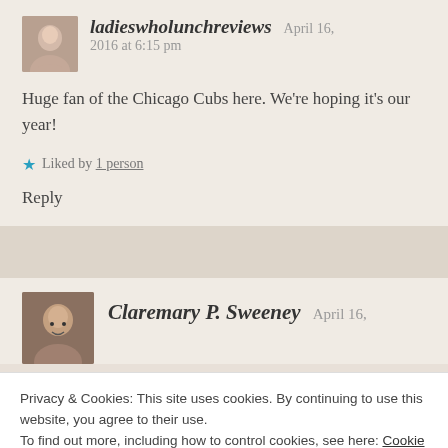ladieswholunchreviews    April 16, 2016 at 6:15 pm
Huge fan of the Chicago Cubs here. We're hoping it's our year!
★ Liked by 1 person
Reply
Claremary P. Sweeney    April 16,
Privacy & Cookies: This site uses cookies. By continuing to use this website, you agree to their use.
To find out more, including how to control cookies, see here: Cookie Policy
Close and accept
★ Liked by 1 person